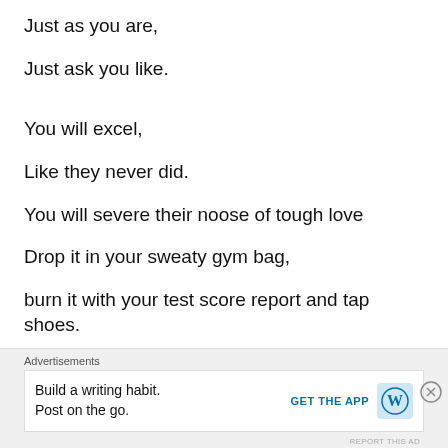Just as you are,
Just ask you like.
You will excel,
Like they never did.
You will severe their noose of tough love
Drop it in your sweaty gym bag,
burn it with your test score report and tap shoes.
Advertisements
Build a writing habit. Post on the go. GET THE APP